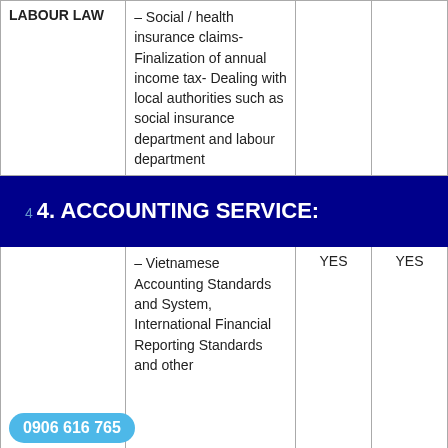|  |  |  |  |
| --- | --- | --- | --- |
| LABOUR LAW | – Social / health insurance claims- Finalization of annual income tax- Dealing with local authorities such as social insurance department and labour department |  |  |
| 4. ACCOUNTING SERVICE: |  |  |  |
|  | – Vietnamese Accounting Standards and System, International Financial Reporting Standards and other | YES | YES |